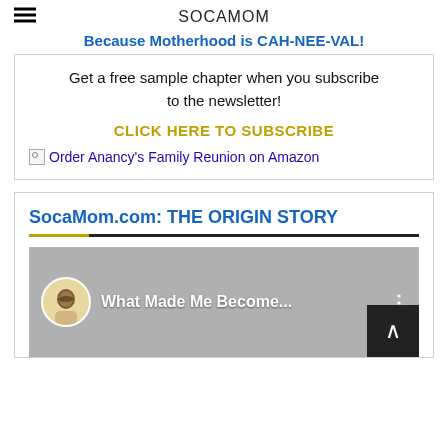SOCAMOM
Because Motherhood is CAH-NEE-VAL!
Get a free sample chapter when you subscribe to the newsletter!
CLICK HERE TO SUBSCRIBE
[Figure (other): Broken image placeholder with alt text: Order Anancy's Family Reunion on Amazon]
SocaMom.com: THE ORIGIN STORY
[Figure (screenshot): YouTube video thumbnail showing 'What Made Me Become...' with a profile avatar of a woman with glasses]